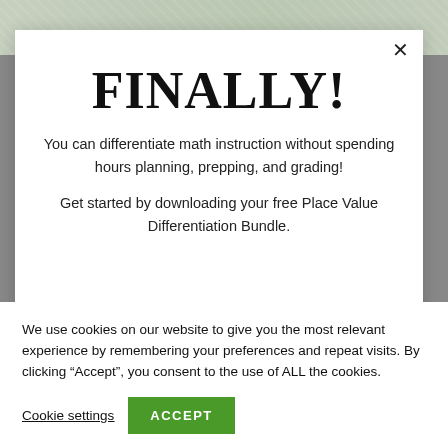[Figure (photo): Background photo strip showing educational/product imagery at the top of the page]
FINALLY!
You can differentiate math instruction without spending hours planning, prepping, and grading!
Get started by downloading your free Place Value Differentiation Bundle.
We use cookies on our website to give you the most relevant experience by remembering your preferences and repeat visits. By clicking “Accept”, you consent to the use of ALL the cookies.
Cookie settings
ACCEPT